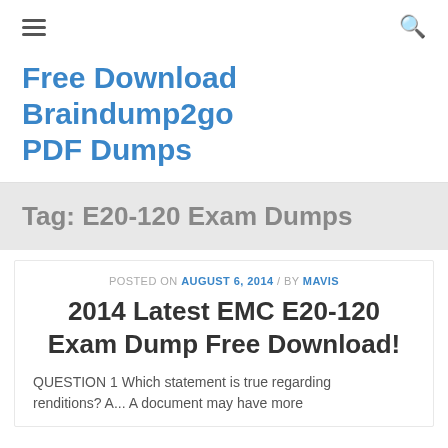≡  🔍
Free Download Braindump2go PDF Dumps
Tag: E20-120 Exam Dumps
POSTED ON AUGUST 6, 2014 / BY MAVIS
2014 Latest EMC E20-120 Exam Dump Free Download!
QUESTION 1 Which statement is true regarding renditions? A... A document may have more